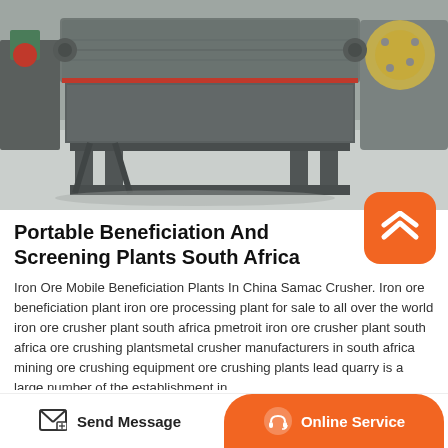[Figure (photo): Industrial magnetic separator / beneficiation machine on a steel frame, photographed in a workshop/factory setting with other equipment visible in background]
Portable Beneficiation And Screening Plants South Africa
Iron Ore Mobile Beneficiation Plants In China Samac Crusher. Iron ore beneficiation plant iron ore processing plant for sale to all over the world iron ore crusher plant south africa pmetroit iron ore crusher plant south africa ore crushing plantsmetal crusher manufacturers in south africa mining ore crushing equipment ore crushing plants lead quarry is a large number of the establishment in